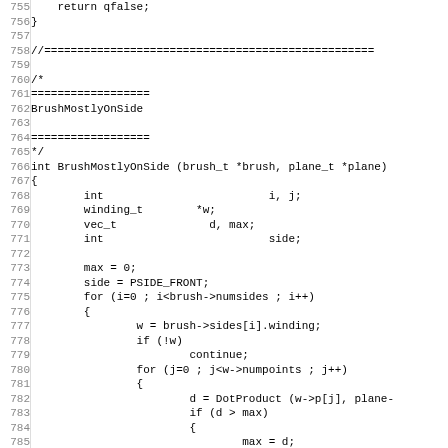[Figure (other): Source code listing in C, lines 755-787, showing BrushMostlyOnSide function implementation with variable declarations, loop constructs, and DotProduct call.]